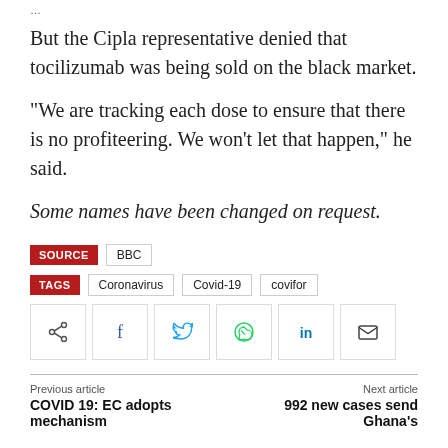But the Cipla representative denied that tocilizumab was being sold on the black market.
“We are tracking each dose to ensure that there is no profiteering. We won’t let that happen,” he said.
Some names have been changed on request.
SOURCE BBC
TAGS Coronavirus Covid-19 covifor
[Figure (other): Social sharing buttons: share, Facebook, Twitter, WhatsApp, LinkedIn, Email]
Previous article: COVID 19: EC adopts mechanism
Next article: 992 new cases send Ghana’s